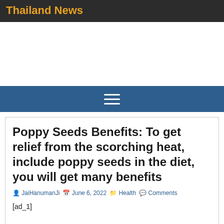Thailand News
Poppy Seeds Benefits: To get relief from the scorching heat, include poppy seeds in the diet, you will get many benefits
JaiHanumanJi   June 6, 2022   Health   Comments
[ad_1]
benefits of consuming poppy seeds